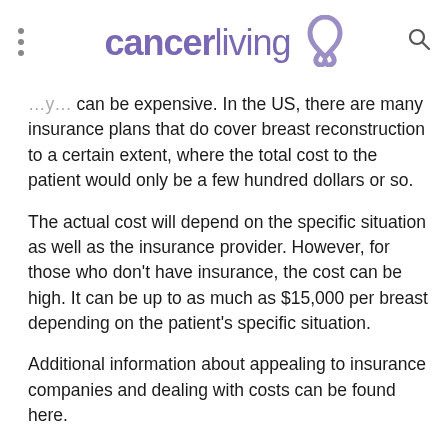cancerliving
can be expensive. In the US, there are many insurance plans that do cover breast reconstruction to a certain extent, where the total cost to the patient would only be a few hundred dollars or so.
The actual cost will depend on the specific situation as well as the insurance provider. However, for those who don't have insurance, the cost can be high. It can be up to as much as $15,000 per breast depending on the patient's specific situation.
Additional information about appealing to insurance companies and dealing with costs can be found here.
What Happens During Breast Reconstruction Surgery?